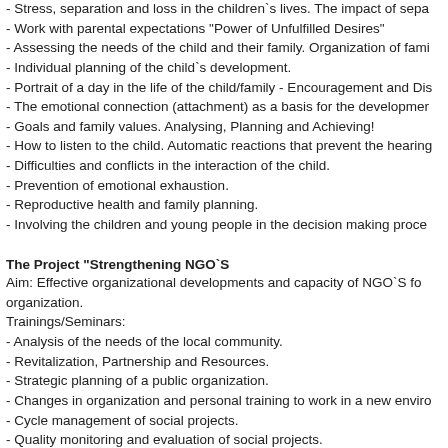- Stress, separation and loss in the children`s lives. The impact of sepa
- Work with parental expectations "Power of Unfulfilled Desires"
- Assessing the needs of the child and their family. Organization of fami
- Individual planning of the child`s development.
- Portrait of a day in the life of the child/family - Encouragement and Dis
- The emotional connection (attachment) as a basis for the developmen
- Goals and family values. Analysing, Planning and Achieving!
- How to listen to the child. Automatic reactions that prevent the hearing
- Difficulties and conflicts in the interaction of the child.
- Prevention of emotional exhaustion.
- Reproductive health and family planning.
- Involving the children and young people in the decision making proce
The Project "Strengthening NGO`S
Aim: Effective organizational developments and capacity of NGO`S fo
organization.
Trainings/Seminars:
- Analysis of the needs of the local community.
- Revitalization, Partnership and Resources.
- Strategic planning of a public organization.
- Changes in organization and personal training to work in a new enviro
- Cycle management of social projects.
- Quality monitoring and evaluation of social projects.
- Team building with effective communication.
- Prevention of professional burnout.
- Assessment of organization to protect a child from abuse.
Our Plans: